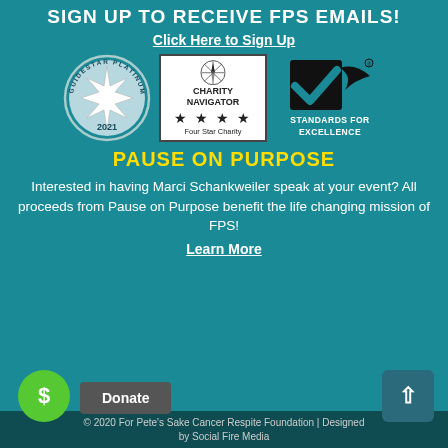SIGN UP TO RECEIVE FPS EMAILS!
Click Here to Sign Up
[Figure (logo): Three charity accreditation logos: GuideStar Platinum Transparency 2021, Charity Navigator Four Star Charity, and Standards for Excellence]
PAUSE ON PURPOSE
Interested in having Marci Schankweiler speak at your event? All proceeds from Pause on Purpose benefit the life changing mission of FPS!
Learn More
© 2020 For Pete's Sake Cancer Respite Foundation | Designed by Social Fire Media